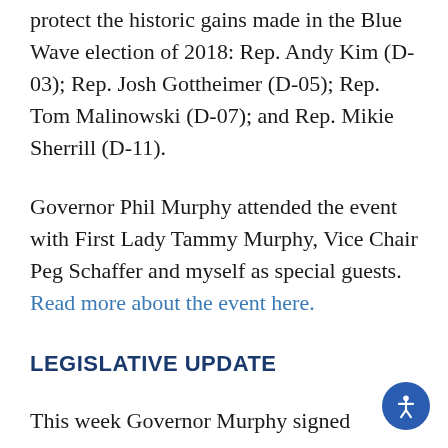protect the historic gains made in the Blue Wave election of 2018: Rep. Andy Kim (D-03); Rep. Josh Gottheimer (D-05); Rep. Tom Malinowski (D-07); and Rep. Mikie Sherrill (D-11).
Governor Phil Murphy attended the event with First Lady Tammy Murphy, Vice Chair Peg Schaffer and myself as special guests. Read more about the event here.
LEGISLATIVE UPDATE
This week Governor Murphy signed